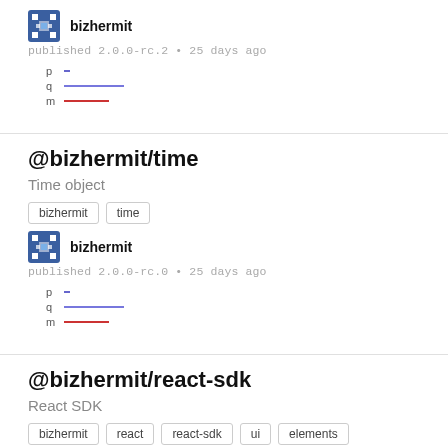[Figure (logo): bizhermit pixel avatar icon]
bizhermit
published 2.0.0-rc.2 • 25 days ago
[Figure (other): Legend with p, q, m lines]
@bizhermit/time
Time object
bizhermit
time
[Figure (logo): bizhermit pixel avatar icon]
bizhermit
published 2.0.0-rc.0 • 25 days ago
[Figure (other): Legend with p, q, m lines]
@bizhermit/react-sdk
React SDK
bizhermit
react
react-sdk
ui
elements